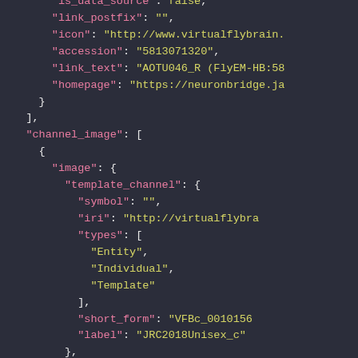[Figure (screenshot): JSON code snippet shown in a dark-themed code editor. Shows partial JSON structure with keys: link_postfix, icon, accession, link_text, homepage (truncated), followed by channel_image array containing an object with image key, template_channel object with symbol, iri, types array (Entity, Individual, Template), short_form, and label keys.]